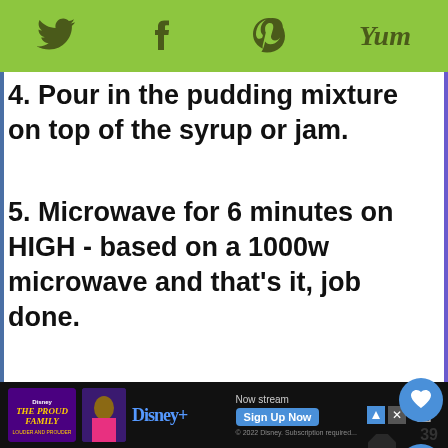Twitter Facebook Pinterest Yum
4. Pour in the pudding mixture on top of the syrup or jam.
5. Microwave for 6 minutes on HIGH - based on a 1000w microwave and that's it, job done.
[Figure (infographic): Instagram call-to-action banner with purple background, Instagram logo, text 'Did you make this recipe?' and handle '@aglugofoil #aglugofoil']
[Figure (infographic): Disney+ advertisement banner for The Proud Family - Now streaming, Sign Up Now]
39
WHAT'S NEXT → Sponge Cake with Cream...